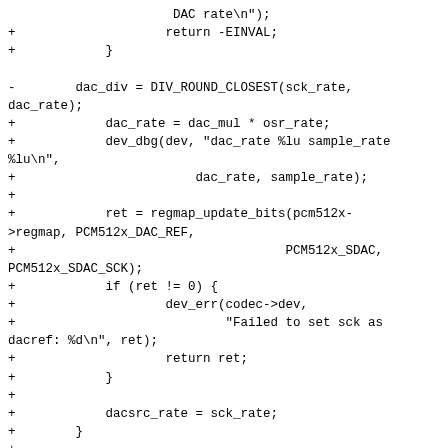Code diff showing DAC rate configuration and register update logic in PCM512x driver